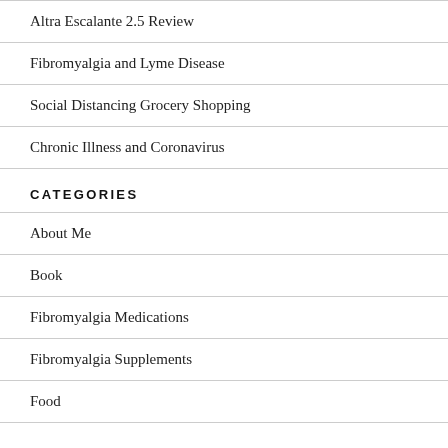Altra Escalante 2.5 Review
Fibromyalgia and Lyme Disease
Social Distancing Grocery Shopping
Chronic Illness and Coronavirus
CATEGORIES
About Me
Book
Fibromyalgia Medications
Fibromyalgia Supplements
Food